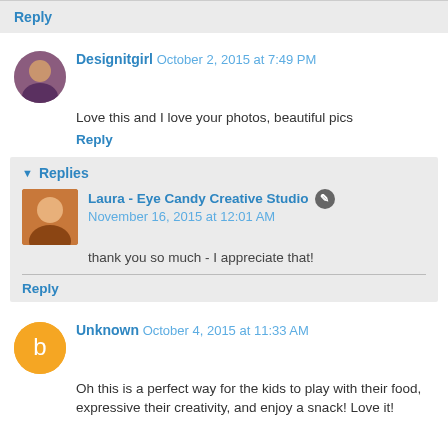Reply
Designitgirl October 2, 2015 at 7:49 PM
Love this and I love your photos, beautiful pics
Reply
Replies
Laura - Eye Candy Creative Studio November 16, 2015 at 12:01 AM
thank you so much - I appreciate that!
Reply
Unknown October 4, 2015 at 11:33 AM
Oh this is a perfect way for the kids to play with their food, expressive their creativity, and enjoy a snack! Love it!